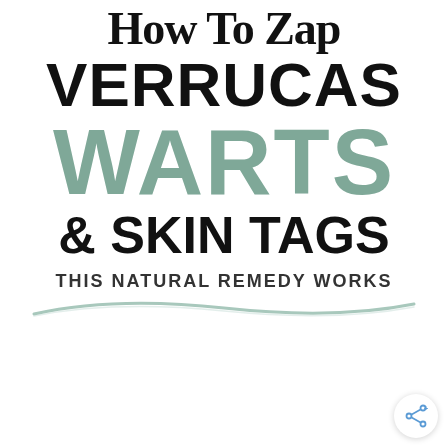How To Zap VERRUCAS WARTS & SKIN TAGS
THIS NATURAL REMEDY WORKS
[Figure (illustration): Decorative green wave underline beneath 'THIS NATURAL REMEDY WORKS' text]
[Figure (illustration): Share button icon (circle with share symbol) in bottom right corner]